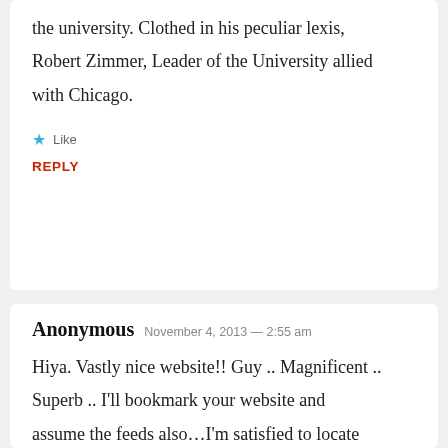the university. Clothed in his peculiar lexis, Robert Zimmer, Leader of the University allied with Chicago.
Like
REPLY
Anonymous  November 4, 2013 — 2:55 am
Hiya. Vastly nice website!! Guy .. Magnificent .. Superb .. I'll bookmark your website and assume the feeds also…I'm satisfied to locate